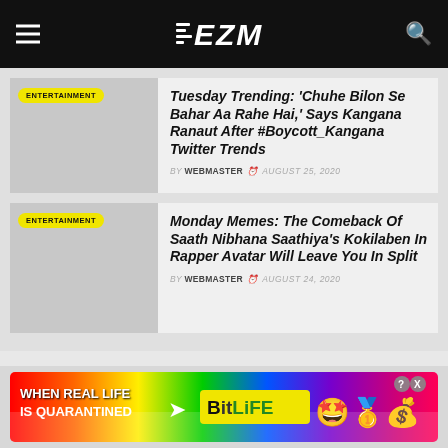EZM
[Figure (screenshot): Article thumbnail placeholder with ENTERTAINMENT badge - Tuesday Trending article]
Tuesday Trending: 'Chuhe Bilon Se Bahar Aa Rahe Hai,' Says Kangana Ranaut After #Boycott_Kangana Twitter Trends
BY WEBMASTER  AUGUST 25, 2020
[Figure (screenshot): Article thumbnail placeholder with ENTERTAINMENT badge - Monday Memes article]
Monday Memes: The Comeback Of Saath Nibhana Saathiya's Kokilaben In Rapper Avatar Will Leave You In Split
BY WEBMASTER  AUGUST 24, 2020
[Figure (illustration): BitLife advertisement banner with rainbow background, text 'WHEN REAL LIFE IS QUARANTINED' and BitLife logo with emoji characters]